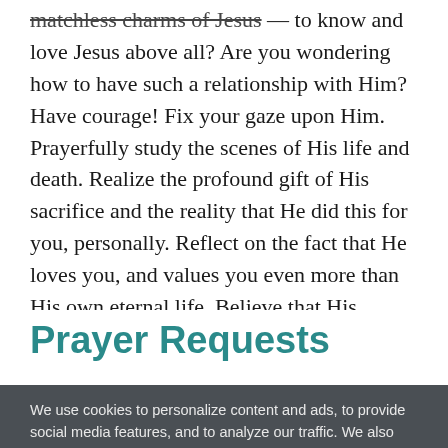matchless charms of Jesus — to know and love Jesus above all? Are you wondering how to have such a relationship with Him? Have courage! Fix your gaze upon Him. Prayerfully study the scenes of His life and death. Realize the profound gift of His sacrifice and the reality that He did this for you, personally. Reflect on the fact that He loves you, and values you even more than His own eternal life. Believe that His forgiveness was provided for you, and His righteousness is enough. Meditate upon these things, and let the matchless charms of Jesus melt your heart today.
Prayer Requests
We use cookies to personalize content and ads, to provide social media features, and to analyze our traffic. We also share information about your use of our site with our social media, advertising, and